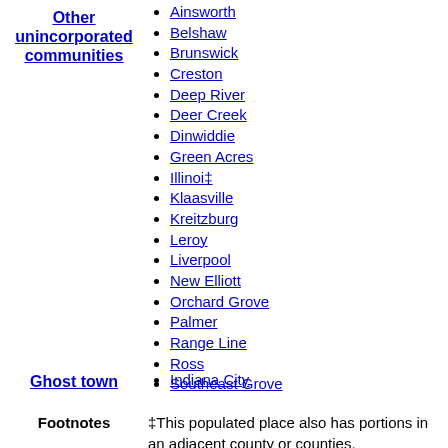Other unincorporated communities
Ainsworth
Belshaw
Brunswick
Creston
Deep River
Deer Creek
Dinwiddie
Green Acres
Illinoi‡
Klaasville
Kreitzburg
Leroy
Liverpool
New Elliott
Orchard Grove
Palmer
Range Line
Ross
Southeast Grove
Ghost town
Indiana City
Footnotes
‡This populated place also has portions in an adjacent county or counties.